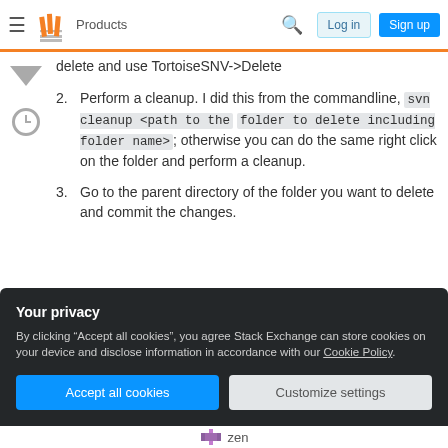Stack Overflow navigation bar with Products, Log in, Sign up
delete and use TortoiseSNV->Delete
2. Perform a cleanup. I did this from the commandline, svn cleanup <path to the folder to delete including folder name>; otherwise you can do the same right click on the folder and perform a cleanup.
3. Go to the parent directory of the folder you want to delete and commit the changes.
This should remove the folder from your working directory and from Subversion.
Your privacy
By clicking "Accept all cookies", you agree Stack Exchange can store cookies on your device and disclose information in accordance with our Cookie Policy.
Accept all cookies  Customize settings